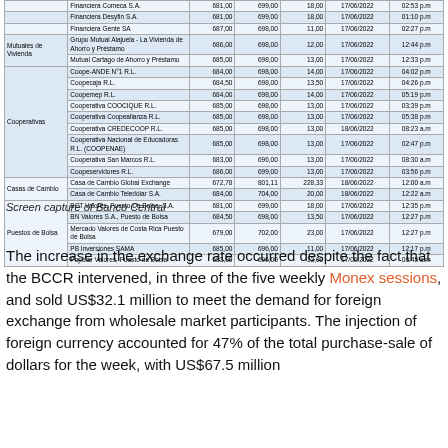|  | Entidad | Compra | Venta | Spread | Fecha | Hora |
| --- | --- | --- | --- | --- | --- | --- |
|  | Financiera Comeca S.A. | 681,00 | 699,00 | 18,00 | 17/06/2022 | 02:53 p.m |
|  | Financiera Desyfin S.A. | 681,00 | 699,00 | 18,00 | 17/06/2022 | 01:10 p.m |
|  | Financiera Gente SA | 687,00 | 698,00 | 11,00 | 17/06/2022 | 02:27 p.m |
| Mutuales de Vivienda | Grupo Mutual Alajuela - La Vivienda de Ahorro y Préstamo | 686,00 | 698,00 | 12,00 | 17/06/2022 | 12:44 p.m |
|  | Mutual Cartago de Ahorro y Préstamo | 685,00 | 698,00 | 13,00 | 17/06/2022 | 12:33 p.m |
| Cooperativas | Coope-ANDE N°1 R.L. | 684,00 | 698,00 | 14,00 | 17/06/2022 | 04:02 p.m |
|  | Coopecaja R.L. | 684,50 | 698,00 | 13,50 | 17/06/2022 | 04:26 p.m |
|  | Coopemep R.L. | 684,00 | 698,00 | 14,00 | 17/06/2022 | 05:19 p.m |
|  | Cooperativa COOCIQUE R.L. | 685,00 | 698,00 | 13,00 | 17/06/2022 | 03:39 p.m |
|  | Cooperativa Coopealianza R.L. | 685,00 | 698,00 | 13,00 | 17/06/2022 | 05:38 p.m |
|  | Cooperativa CREDECOOP R.L. | 685,00 | 698,00 | 13,00 | 18/06/2022 | 08:23 a.m |
|  | Cooperativa Nacional de Educadoras R.L. (COOPENAE) | 685,00 | 698,00 | 13,00 | 17/06/2022 | 02:47 p.m |
|  | Cooperativa San Marcos R.L. | 683,00 | 696,00 | 13,00 | 17/06/2022 | 08:30 a.m |
|  | Coopeservidores R.L. | 686,00 | 699,00 | 13,00 | 17/06/2022 | 03:56 p.m |
| Casas de Cambio | Casa de Cambio Global Exchange | 672,78 | 801,11 | 228,33 | 18/06/2022 | 12:00 a.m |
|  | Casa de Cambio Teledólar S.A. | 684,00 | 704,00 | 20,00 | 18/06/2022 | 12:22 a.m |
| Puestos de Bolsa | BCT Valores, Puesto De Bolsa, S.A. | 681,00 | 699,00 | 18,00 | 17/06/2022 | 12:35 p.m |
|  | BN Valores S.A., Puesto de Bolsa | 684,50 | 698,00 | 13,50 | 17/06/2022 | 12:27 p.m |
|  | Mercado Valores de Costa Rica Puesto de Bolsa | 679,00 | 702,00 | 23,00 | 17/06/2022 | 12:27 p.m |
|  | PB Inversiones SAMA | 685,00 | 696,00 | 11,00 | 17/06/2022 | 12:17 p.m |
|  | Popular Valores, Puesto de Bolsa | 683,00 | 696,00 | 13,00 | 17/06/2022 | 08:45 a.m |
Screen capture of Banco Central
The increase in the exchange rate occurred despite the fact that the BCCR intervened, in three of the five weekly Monex sessions, and sold US$32.1 million to meet the demand for foreign exchange from wholesale market participants. The injection of foreign currency accounted for 47% of the total purchase-sale of dollars for the week, with US$67.5 million